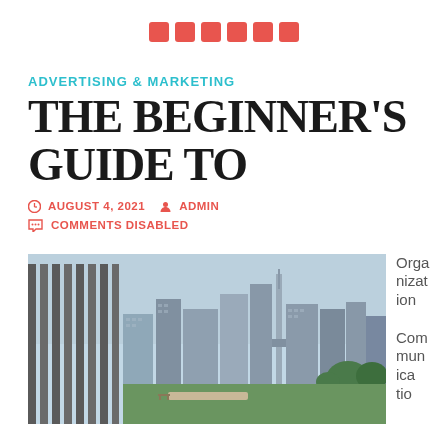■ ■ ■ ■ ■ ■
ADVERTISING & MARKETING
THE BEGINNER'S GUIDE TO
AUGUST 4, 2021  ADMIN
COMMENTS DISABLED
[Figure (photo): Urban city skyline with tall buildings and a tower, viewed from a green rooftop or park area with vertical architectural columns on the left side]
Organization Communication